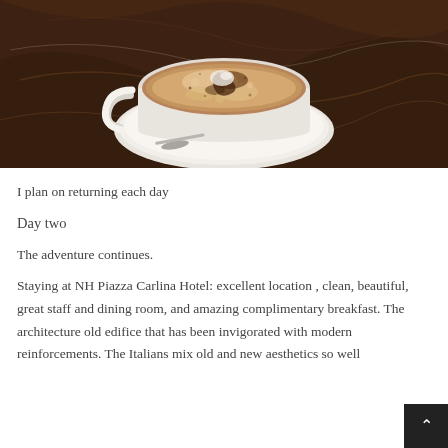[Figure (photo): Overhead view of a cappuccino or latte in a white ceramic cup on a white saucer, placed on a dark brown marble surface. The coffee has frothy foam with cocoa powder dusting and a chocolate drizzle pattern on top.]
I plan on returning each day
Day two
The adventure continues.
Staying at NH Piazza Carlina Hotel: excellent location , clean, beautiful, great staff and dining room, and amazing complimentary breakfast. The architecture old edifice that has been invigorated with modern reinforcements. The Italians mix old and new aesthetics so well